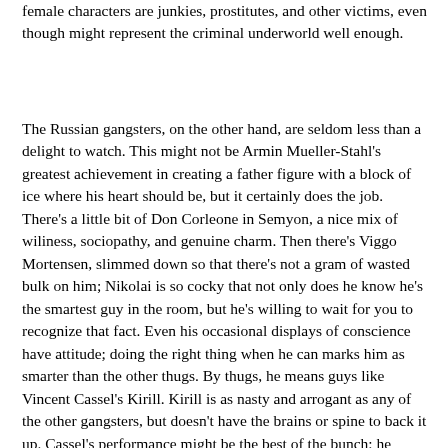female characters are junkies, prostitutes, and other victims, even though might represent the criminal underworld well enough.
The Russian gangsters, on the other hand, are seldom less than a delight to watch. This might not be Armin Mueller-Stahl's greatest achievement in creating a father figure with a block of ice where his heart should be, but it certainly does the job. There's a little bit of Don Corleone in Semyon, a nice mix of wiliness, sociopathy, and genuine charm. Then there's Viggo Mortensen, slimmed down so that there's not a gram of wasted bulk on him; Nikolai is so cocky that not only does he know he's the smartest guy in the room, but he's willing to wait for you to recognize that fact. Even his occasional displays of conscience have attitude; doing the right thing when he can marks him as smarter than the other thugs. By thugs, he means guys like Vincent Cassel's Kirill. Kirill is as nasty and arrogant as any of the other gangsters, but doesn't have the brains or spine to back it up. Cassel's performance might be the best of the bunch; he makes a potential monster whose attempts to prove it make him oddly sympathetic.